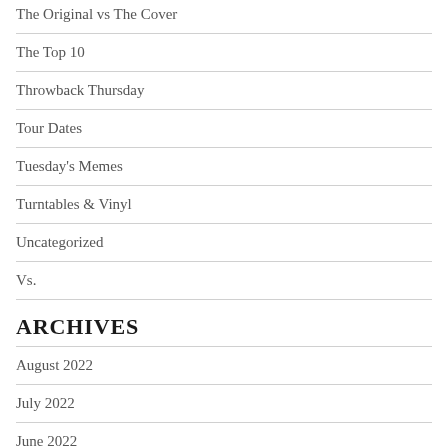The Original vs The Cover
The Top 10
Throwback Thursday
Tour Dates
Tuesday's Memes
Turntables & Vinyl
Uncategorized
Vs.
Archives
August 2022
July 2022
June 2022